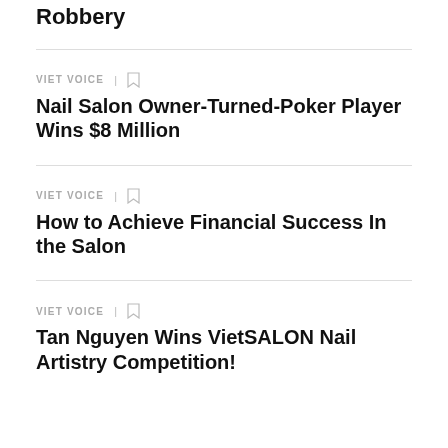Robbery
VIET VOICE
Nail Salon Owner-Turned-Poker Player Wins $8 Million
VIET VOICE
How to Achieve Financial Success In the Salon
VIET VOICE
Tan Nguyen Wins VietSALON Nail Artistry Competition!